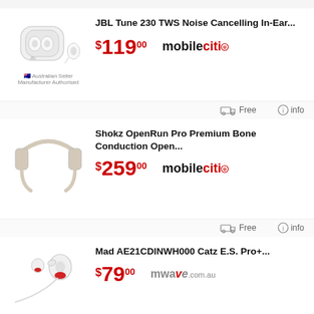[Figure (photo): JBL Tune 230 TWS white wireless earbuds with charging case]
JBL Tune 230 TWS Noise Cancelling In-Ear...
$119.00 mobileciti
Free  info
[Figure (photo): Shokz OpenRun Pro bone conduction open-ear headphones in beige]
Shokz OpenRun Pro Premium Bone Conduction Open...
$259.00 mobileciti
Free  info
[Figure (photo): Mad Catz E.S. Pro+ white in-ear earphones with red tips]
Mad AE21CDINWH000 Catz E.S. Pro+...
$79.00 mwave.com.au